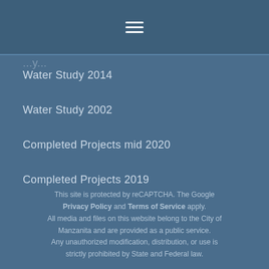≡ (hamburger menu icon)
Water Study 2014
Water Study 2002
Completed Projects mid 2020
Completed Projects 2019
This site is protected by reCAPTCHA. The Google Privacy Policy and Terms of Service apply. All media and files on this website belong to the City of Manzanita and are provided as a public service. Any unauthorized modification, distribution, or use is strictly prohibited by State and Federal law.